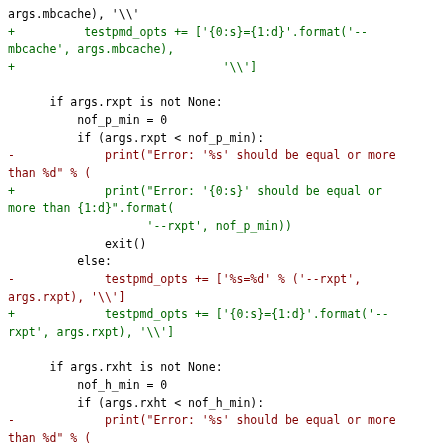Code diff showing Python testpmd option formatting changes from %s/%d style to {0:s}/{1:d} .format() style for mbcache, rxpt, and rxht options.